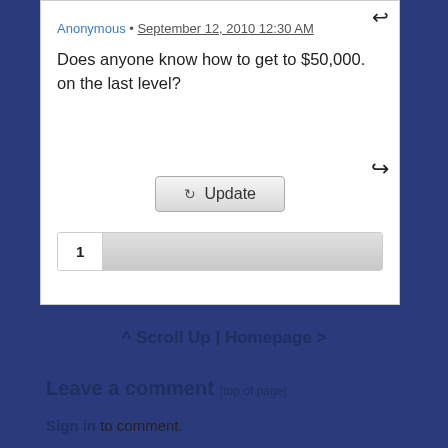Anonymous • September 12, 2010 12:30 AM
Does anyone know how to get to $50,000. on the last level?
⟳ Update
1
^ Scroll Up | Homepage >
Leave a comment [top of page]
Sign in to comment.